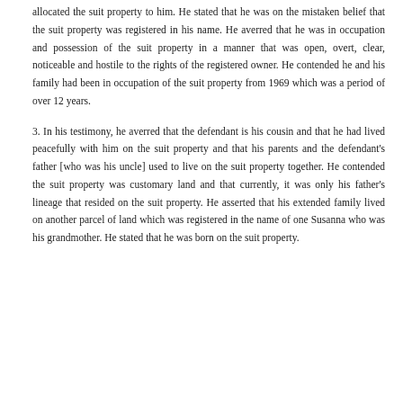allocated the suit property to him. He stated that he was on the mistaken belief that the suit property was registered in his name. He averred that he was in occupation and possession of the suit property in a manner that was open, overt, clear, noticeable and hostile to the rights of the registered owner. He contended he and his family had been in occupation of the suit property from 1969 which was a period of over 12 years.
3. In his testimony, he averred that the defendant is his cousin and that he had lived peacefully with him on the suit property and that his parents and the defendant's father [who was his uncle] used to live on the suit property together. He contended the suit property was customary land and that currently, it was only his father's lineage that resided on the suit property. He asserted that his extended family lived on another parcel of land which was registered in the name of one Susanna who was his grandmother. He stated that he was born on the suit property.